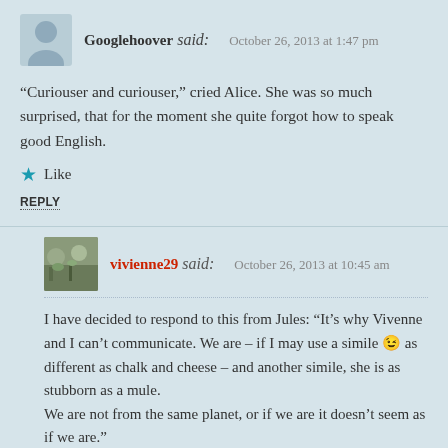Googlehoover said: October 26, 2013 at 1:47 pm
“Curiouser and curiouser,” cried Alice. She was so much surprised, that for the moment she quite forgot how to speak good English.
Like
REPLY
vivienne29 said: October 26, 2013 at 10:45 am
I have decided to respond to this from Jules: “It’s why Vivenne and I can’t communicate. We are – if I may use a simile 😉 as different as chalk and cheese – and another simile, she is as stubborn as a mule.
We are not from the same planet, or if we are it doesn’t seem as if we are.”
We are indeed different. I am stubborn when it comes to